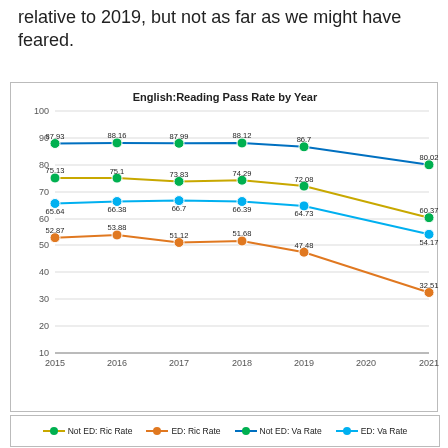relative to 2019, but not as far as we might have feared.
[Figure (line-chart): English:Reading Pass Rate by Year]